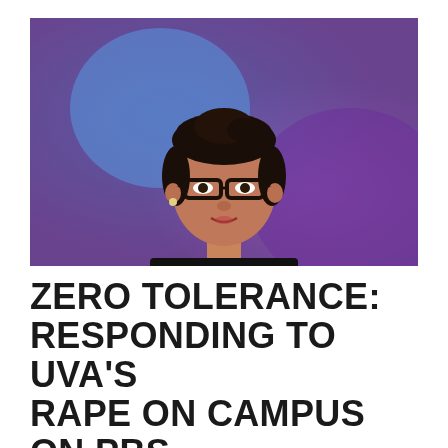[Figure (photo): A woman with dark hair pulled back, wearing black-rimmed glasses and a black top with a chunky silver/bronze necklace, photographed against a blue and purple blurred background, as if on a television set.]
ZERO TOLERANCE: RESPONDING TO UVA'S RAPE ON CAMPUS ON PBS
Politics Not As Usual, Violence Against Women, Women's Rights=Human Rights / By anushayhossain